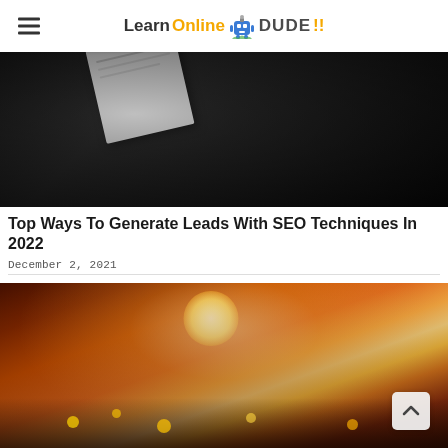LearnOnlineDUDE! — site header with hamburger menu and logo
[Figure (photo): Dark background photo with white paper/document partially visible at top, suggesting an SEO or digital marketing topic]
Top Ways To Generate Leads With SEO Techniques In 2022
December 2, 2021
[Figure (photo): Sunlit outdoor nature scene with blurred yellow flowers in foreground and warm orange sunburst through trees in background]